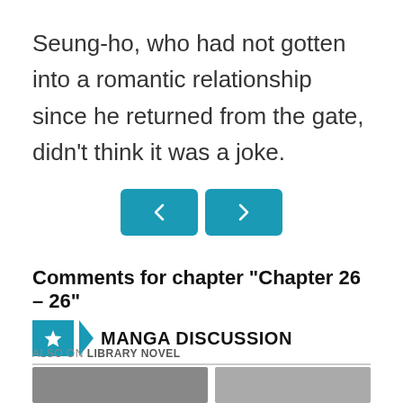Seung-ho, who had not gotten into a romantic relationship since he returned from the gate, didn't think it was a joke.
[Figure (other): Navigation buttons: left arrow (back) and right arrow (forward) styled as teal rounded rectangles]
Comments for chapter "Chapter 26 – 26"
MANGA DISCUSSION
ALSO ON LIBRARY NOVEL
[Figure (photo): Two side-by-side thumbnail images below 'Also on Library Novel' section, partially visible]